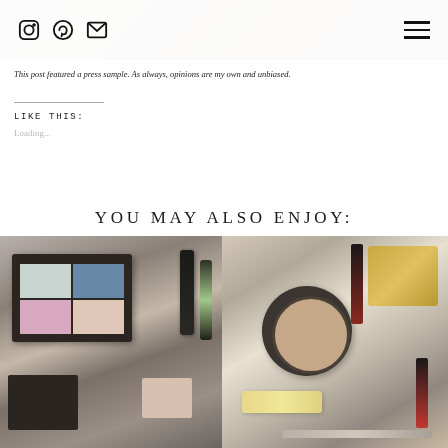Instagram Pinterest Email icons + hamburger menu
[Figure (photo): Top portion of a makeup/beauty blog hero image, showing beauty products on a soft background]
This post featured a press sample. As always, opinions are my own and unbiased.
LIKE THIS:
Loading...
YOU MAY ALSO ENJOY:
[Figure (photo): Flat lay photo of makeup products including an eyeshadow quad palette, lip gloss, and lipstick on a satin fabric background]
[Figure (photo): Flat lay photo of luxury makeup products including a powder compact, highlighter, lipstick, and other beauty items on a white surface]